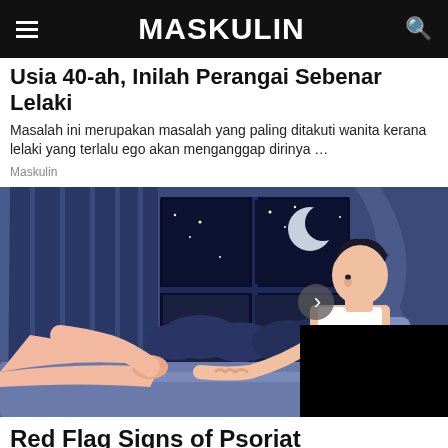MASKULIN
Usia 40-ah, Inilah Perangai Sebenar Lelaki
Masalah ini merupakan masalah yang paling ditakuti wanita kerana lelaki yang terlalu ego akan menganggap dirinya …
Maskulin
[Figure (illustration): Illustration of a man sitting on a bed at night scratching his legs, with a moonlit window in the background and blue curtains.]
Red Flag Signs of Psoriat